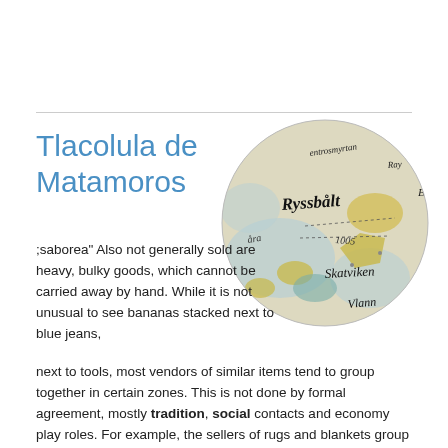Tlacolula de Matamoros
[Figure (map): Circular cropped vintage map showing place names in stylized script including 'Ryssbält', 'Skatviken', 'Vlann', with colored regions in yellow, teal and beige on aged paper]
;saborea" Also not generally sold are heavy, bulky goods, which cannot be carried away by hand. While it is not unusual to see bananas stacked next to blue jeans, next to tools, most vendors of similar items tend to group together in certain zones. This is not done by formal agreement, mostly tradition, social contacts and economy play roles. For example, the sellers of rugs and blankets group together north of the churchyard, across from a grouping of vendors selling expensive handmade vests. This